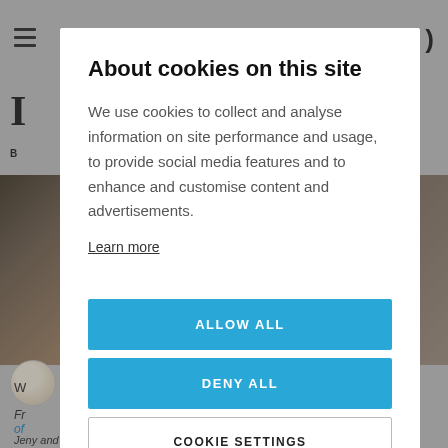About cookies on this site
We use cookies to collect and analyse information on site performance and usage, to provide social media features and to enhance and customise content and advertisements.
Learn more
ALLOW ALL
DENY ALL
COOKIE SETTINGS
Jeny and Esterania Santacreu-Vasut, published in Palgrave